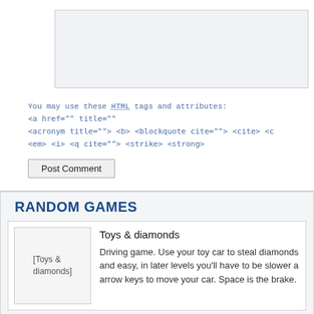[Figure (screenshot): Textarea input box placeholder (light gray)]
You may use these HTML tags and attributes: <a href="" title=""> <acronym title=""> <b> <blockquote cite=""> <cite> <c> <em> <i> <q cite=""> <strike> <strong>
Post Comment
RANDOM GAMES
Toys & diamonds
Driving game. Use your toy car to steal diamonds and easy, in later levels you'll have to be slower a arrow keys to move your car. Space is the brake.
Find The Fishes
Gals come on and I will show you a very interestin you have to do is to find out the fishes and there a games. Try and enjoy the game !